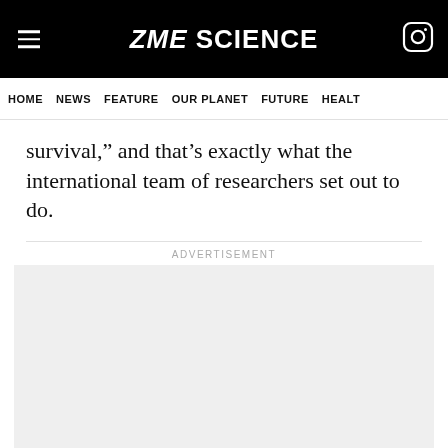ZME SCIENCE
HOME  NEWS  FEATURE  OUR PLANET  FUTURE  HEALT
survival,” and that’s exactly what the international team of researchers set out to do.
ADVERTISEMENT
[Figure (other): Grey advertisement placeholder box]